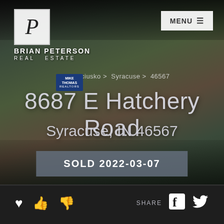[Figure (logo): Brian Peterson Real Estate logo with stylized P in a bordered frame]
MENU ≡
sciusko > Syracuse > 46567
8687 E Hatchery Road
Syracuse, IN 46567
SOLD 2022-03-07
SHARE